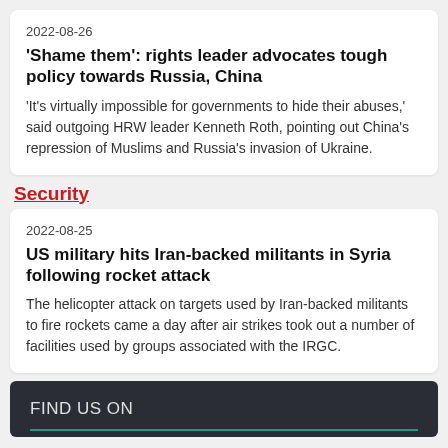2022-08-26
'Shame them': rights leader advocates tough policy towards Russia, China
'It's virtually impossible for governments to hide their abuses,' said outgoing HRW leader Kenneth Roth, pointing out China's repression of Muslims and Russia's invasion of Ukraine.
Security
2022-08-25
US military hits Iran-backed militants in Syria following rocket attack
The helicopter attack on targets used by Iran-backed militants to fire rockets came a day after air strikes took out a number of facilities used by groups associated with the IRGC.
FIND US ON